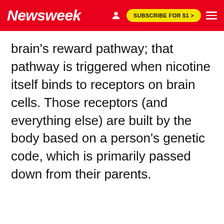Newsweek | SUBSCRIBE FOR $1 >
brain's reward pathway; that pathway is triggered when nicotine itself binds to receptors on brain cells. Those receptors (and everything else) are built by the body based on a person's genetic code, which is primarily passed down from their parents.